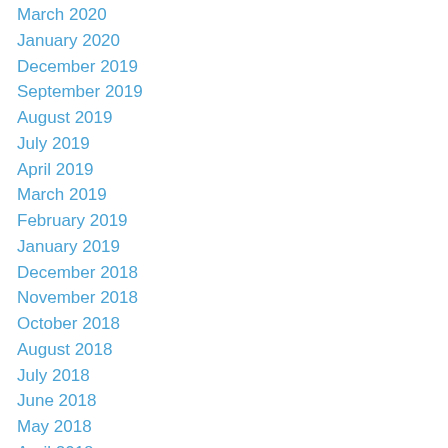March 2020
January 2020
December 2019
September 2019
August 2019
July 2019
April 2019
March 2019
February 2019
January 2019
December 2018
November 2018
October 2018
August 2018
July 2018
June 2018
May 2018
April 2018
March 2018
February 2018